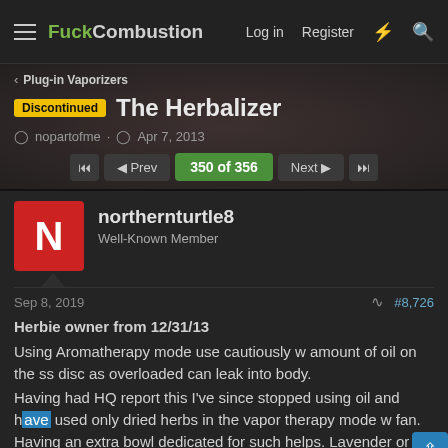FuckCombustion — Log in  Register
Plug-in Vaporizers
Discontinued  The Herbalizer
nopartofme  ·  Apr 7, 2013
◄◄  ◄ Prev  350 of 356  Next ►  ►►
northernturtle8
Well-Known Member
Sep 8, 2019  #8,726
Herbie owner from 12/31/13
Using Aromatherapy mode use cautiously w amount of oil on the ss disc as overloaded can leak into body.
Having had HQ report this I've since stopped using oil and have used only dried herbs in the vapor therapy mode w fan. Having an extra bowl dedicated for such helps. Lavender or cedar works well and at different temps tho 444' is my set temp.